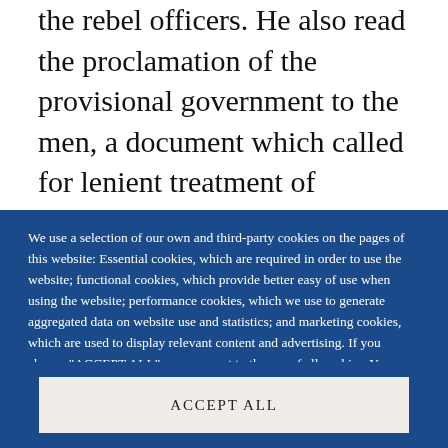the rebel officers. He also read the proclamation of the provisional government to the men, a document which called for lenient treatment of
We use a selection of our own and third-party cookies on the pages of this website: Essential cookies, which are required in order to use the website; functional cookies, which provide better easy of use when using the website; performance cookies, which we use to generate aggregated data on website use and statistics; and marketing cookies, which are used to display relevant content and advertising. If you choose "ACCEPT ALL", you consent to the use of all cookies. You can accept and
ACCEPT ALL